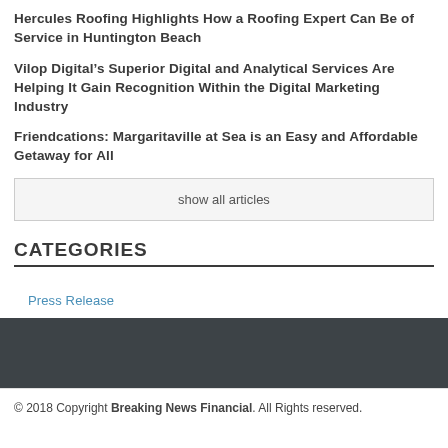Hercules Roofing Highlights How a Roofing Expert Can Be of Service in Huntington Beach
Vilop Digital’s Superior Digital and Analytical Services Are Helping It Gain Recognition Within the Digital Marketing Industry
Friendcations: Margaritaville at Sea is an Easy and Affordable Getaway for All
show all articles
CATEGORIES
Press Release
© 2018 Copyright Breaking News Financial. All Rights reserved.